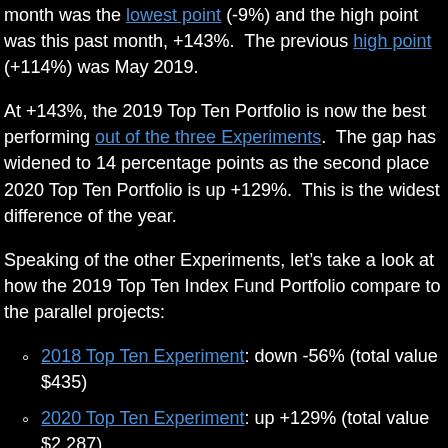month was the lowest point (-9%) and the high point was this past month, +143%.  The previous high point (+114%) was May 2019.
At +143%, the 2019 Top Ten Portfolio is now the best performing out of the three Experiments.  The gap has widened to 14 percentage points as the second place 2020 Top Ten Portfolio is up +129%.  This is the widest difference of the year.
Speaking of the other Experiments, let’s take a look at how the 2019 Top Ten Index Fund Portfolio compare to the parallel projects:
2018 Top Ten Experiment: down -56% (total value $435)
2020 Top Ten Experiment: up +129% (total value $2,287)
Taking the three portfolios together, here’s the bottom bottom